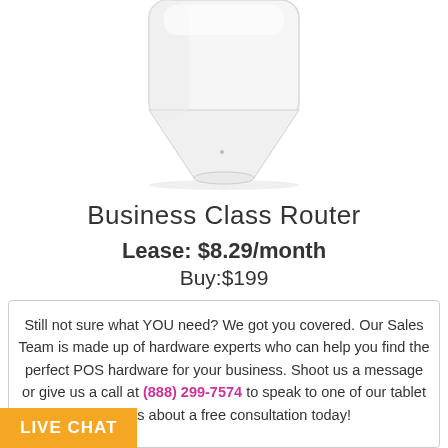[Figure (photo): White business class router device, wedge/pyramid shaped, shown from below against white background]
Business Class Router
Lease: $8.29/month
Buy:$199
Still not sure what YOU need? We got you covered. Our Sales Team is made up of hardware experts who can help you find the perfect POS hardware for your business. Shoot us a message or give us a call at (888) 299-7574 to speak to one of our tablet experts about a free consultation today!
LIVE CHAT